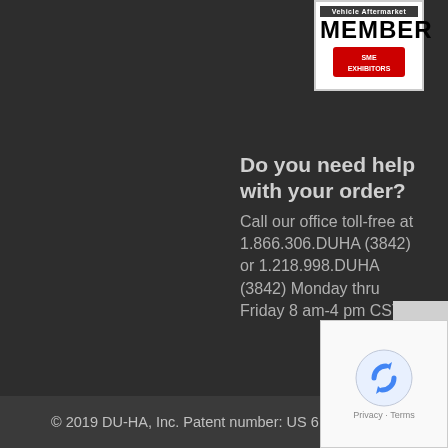[Figure (logo): Vehicle Aftermarket Member badge with SME Exhibitors logo]
Do you need help with your order? Call our office toll-free at 1.866.306.DUHA (3842) or 1.218.998.DUHA (3842) Monday thru Friday 8 am-4 pm CST.
[Figure (other): Scroll to top arrow button]
© 2019 DU-HA, Inc. Patent number: US 6,824,029 B2
[Figure (other): reCAPTCHA widget with Privacy and Terms links]